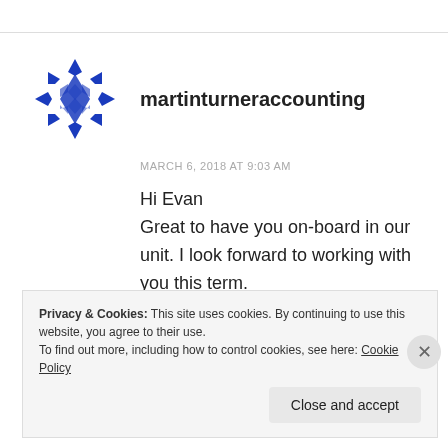martinturneraccounting
MARCH 6, 2018 AT 9:03 AM
Hi Evan
Great to have you on-board in our unit. I look forward to working with you this term.
Martin
Privacy & Cookies: This site uses cookies. By continuing to use this website, you agree to their use.
To find out more, including how to control cookies, see here: Cookie Policy
Close and accept